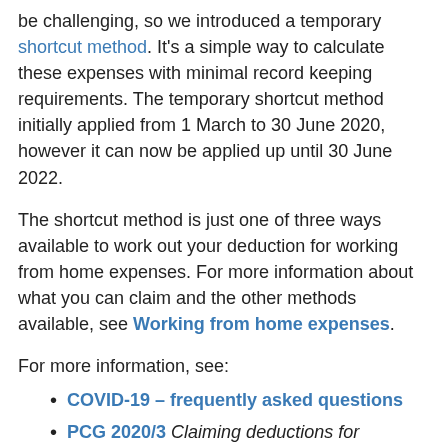be challenging, so we introduced a temporary shortcut method. It's a simple way to calculate these expenses with minimal record keeping requirements. The temporary shortcut method initially applied from 1 March to 30 June 2020, however it can now be applied up until 30 June 2022.
The shortcut method is just one of three ways available to work out your deduction for working from home expenses. For more information about what you can claim and the other methods available, see Working from home expenses.
For more information, see:
COVID-19 – frequently asked questions
PCG 2020/3 Claiming deductions for additional running expenses incurred whilst working from home due to COVID-19.
Australian Taxation Office